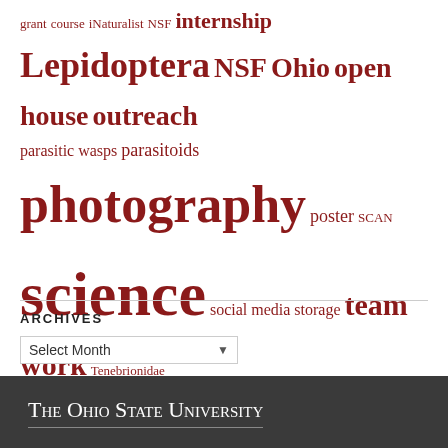grant course iNaturalist NSF internship Lepidoptera NSF Ohio open house outreach parasitic wasps parasitoids photography poster SCAN science social media storage team work Tenebrionidae tools undergraduate undergraduate research unit trays urban volunteering volunteers
ARCHIVES
Select Month
The Ohio State University